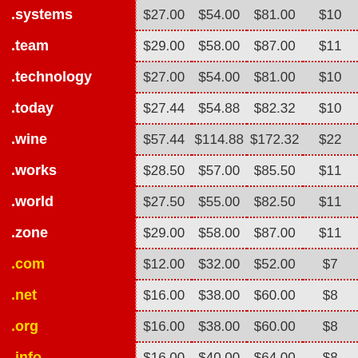| Domain | 1 Year | 2 Years | 3 Years | 4 Years+ |
| --- | --- | --- | --- | --- |
| .systems | $27.00 | $54.00 | $81.00 | $10... |
| .team | $29.00 | $58.00 | $87.00 | $11... |
| .technology | $27.00 | $54.00 | $81.00 | $10... |
| .today | $27.44 | $54.88 | $82.32 | $10... |
| .wine | $57.44 | $114.88 | $172.32 | $22... |
| .works | $28.50 | $57.00 | $85.50 | $11... |
| .world | $27.50 | $55.00 | $82.50 | $11... |
| .zone | $29.00 | $58.00 | $87.00 | $11... |
| .com | $12.00 | $32.00 | $52.00 | $7... |
| .net | $16.00 | $38.00 | $60.00 | $8... |
| .org | $16.00 | $38.00 | $60.00 | $8... |
| .info | $16.00 | $40.00 | $64.00 | $8... |